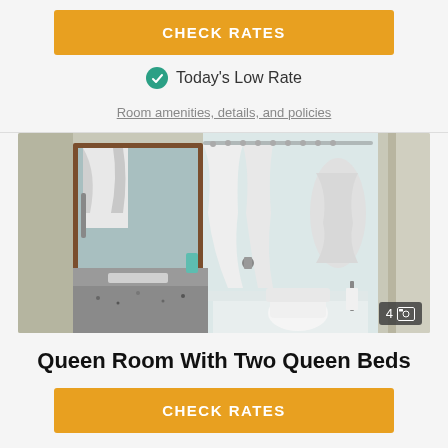CHECK RATES
Today's Low Rate
Room amenities, details, and policies
[Figure (photo): Hotel bathroom with granite countertop vanity, mirror, bathtub with white shower curtain tied back, toilet, and towel bar. Photo counter showing 4 images.]
Queen Room With Two Queen Beds
CHECK RATES